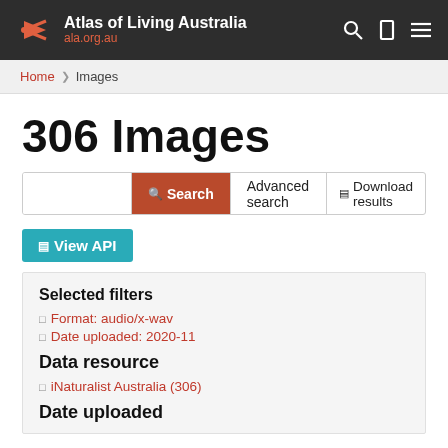Atlas of Living Australia ala.org.au
Home › Images
306 Images
Search   Advanced search   Download results
View API
Selected filters
Format: audio/x-wav
Date uploaded: 2020-11
Data resource
iNaturalist Australia (306)
Date uploaded